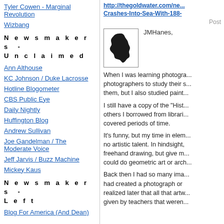Tyler Cowen - Marginal Revolution
Wizbang
N e w s m a k e r s  -  U n c l a i m e d
Ann Althouse
KC Johnson / Duke Lacrosse
Hotline Blogometer
CBS Public Eye
Daily Nightly
Huffington Blog
Andrew Sullivan
Joe Gandelman / The Moderate Voice
Jeff Jarvis / Buzz Machine
Mickey Kaus
N e w s m a k e r s  -  L e f t
Blog For America (And Dean)
http://thegoldwater.com/ne...Crashes-Into-Sea-With-188-
Post
[Figure (illustration): Black silhouette of New Jersey state shape on white background, inside a square border]
JMHanes,
When I was learning photography, photographers to study their s... them, but I also studied paint...
I still have a copy of the "Hist... others I borrowed from librari... covered periods of time.
It's funny, but my time in elem... no artistic talent. In hindsight, freehand drawing, but give m... could do geometric art or arch...
Back then I had so many ima... had created a photograph or realized later that all that artw... given by teachers that weren...